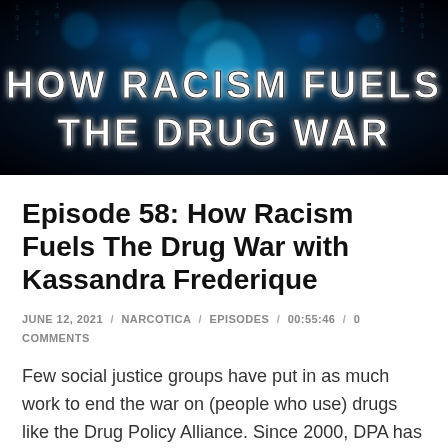[Figure (illustration): Dark blue/black background with glowing cyan bokeh light effects and matrix-style digital rain. Bold white text reads 'HOW RACISM FUELS THE DRUG WAR' in a blocky outlined font.]
Episode 58: How Racism Fuels The Drug War with Kassandra Frederique
JUNE 12, 2021 / NARCOTICA / EPISODES / 00:55:46 / 0 COMMENTS
Few social justice groups have put in as much work to end the war on (people who use) drugs like the Drug Policy Alliance. Since 2000, DPA has been behind some landmark drug